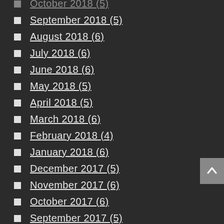October 2018 (5)
September 2018 (5)
August 2018 (6)
July 2018 (6)
June 2018 (6)
May 2018 (5)
April 2018 (5)
March 2018 (6)
February 2018 (4)
January 2018 (6)
December 2017 (5)
November 2017 (6)
October 2017 (6)
September 2017 (5)
August 2017 (6)